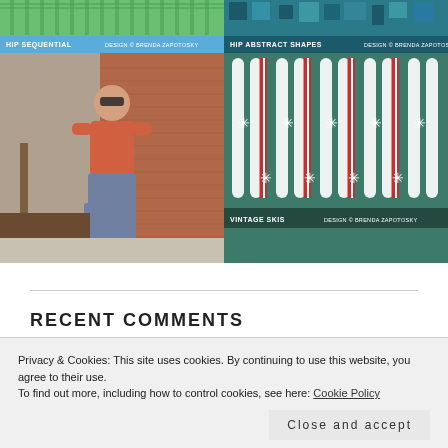[Figure (photo): Hip Sequential fabric design with green striped pattern, label at bottom]
[Figure (photo): Hip Abstract Shapes fabric design with teal geometric pattern, label at bottom]
[Figure (photo): Woman standing outdoors in orange top and blue wide-leg pants in front of brick building]
[Figure (photo): Vintage Skis fabric design with teal background, white stripes, candy cane ski poles and snowflake motifs, label at bottom]
RECENT COMMENTS
Privacy & Cookies: This site uses cookies. By continuing to use this website, you agree to their use.
To find out more, including how to control cookies, see here: Cookie Policy
Close and accept
Challenge...